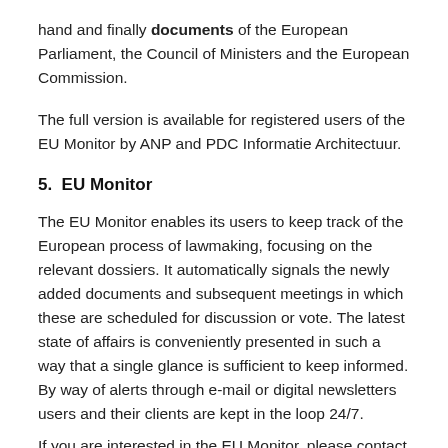hand and finally documents of the European Parliament, the Council of Ministers and the European Commission.
The full version is available for registered users of the EU Monitor by ANP and PDC Informatie Architectuur.
5.  EU Monitor
The EU Monitor enables its users to keep track of the European process of lawmaking, focusing on the relevant dossiers. It automatically signals the newly added documents and subsequent meetings in which these are scheduled for discussion or vote. The latest state of affairs is conveniently presented in such a way that a single glance is sufficient to keep informed. By way of alerts through e-mail or digital newsletters users and their clients are kept in the loop 24/7.
If you are interested in the EU Monitor, please contact